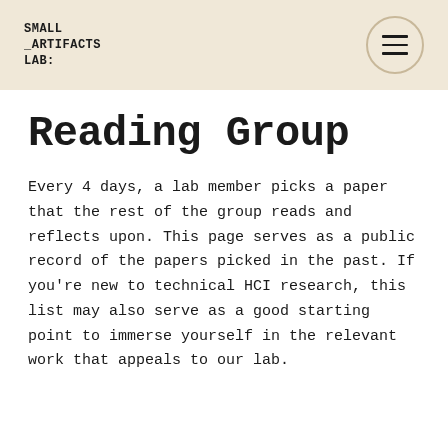SMALL
_ARTIFACTS
LAB:
Reading Group
Every 4 days, a lab member picks a paper that the rest of the group reads and reflects upon. This page serves as a public record of the papers picked in the past. If you're new to technical HCI research, this list may also serve as a good starting point to immerse yourself in the relevant work that appeals to our lab.